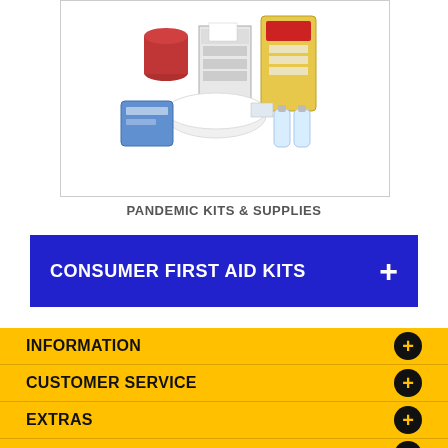[Figure (photo): Pandemic kits and supplies product photo showing various first aid and pandemic supply items including bottles, packages, and containers on a white background]
PANDEMIC KITS & SUPPLIES
CONSUMER FIRST AID KITS +
INFORMATION +
CUSTOMER SERVICE +
EXTRAS +
MY ACCOUNT +